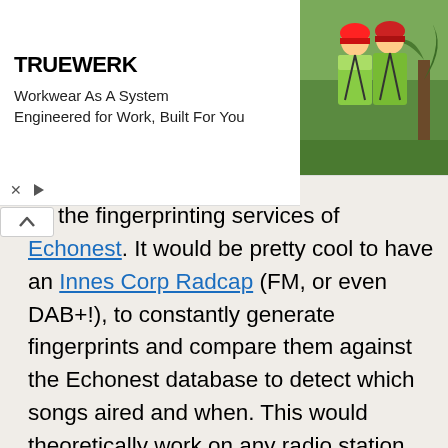[Figure (photo): TRUEWERK advertisement banner showing two workers in green high-visibility gear. Text reads: 'Workwear As A System, Engineered for Work, Built For You']
oy the fingerprinting services of Echonest. It would be pretty cool to have an Innes Corp Radcap (FM, or even DAB+!), to constantly generate fingerprints and compare them against the Echonest database to detect which songs aired and when. This would theoretically work on any radio station, not just those which output RDS song data. Of course, this would require expensive hardware and some pretty decent smarts. And probably a way to detect audio stretching. That's probably why AirCheck have a few competitors (this also their interest ed